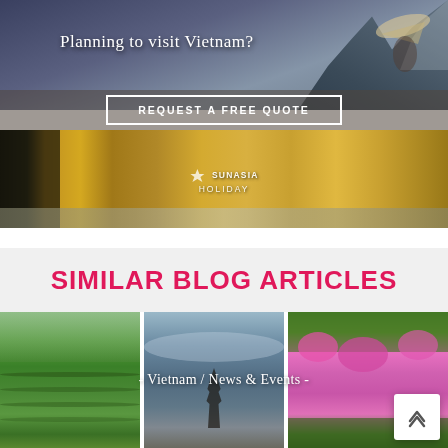[Figure (photo): Vietnam travel banner advertisement showing mountain scenery, a woman in traditional Vietnamese conical hat, and a street scene in Hoi An with yellow buildings and motorbikes. Text reads 'Planning to visit Vietnam?' with a 'REQUEST A FREE QUOTE' button and SunAsia Holiday logo.]
SIMILAR BLOG ARTICLES
[Figure (photo): Three article thumbnail photos side by side: green terraced rice fields, a pagoda/tower at dusk, and pink bougainvillea flowers with greenery. Overlaid text reads '- Vietnam / News & Events -']
- Vietnam / News & Events -